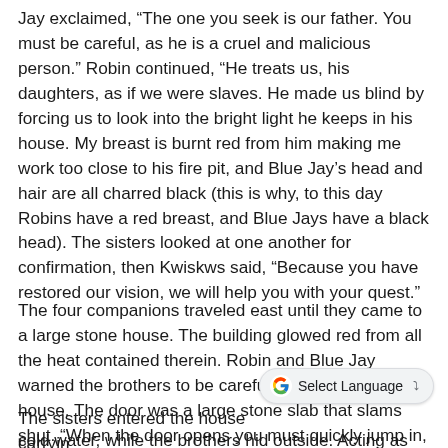Jay exclaimed, “The one you seek is our father. You must be careful, as he is a cruel and malicious person.” Robin continued, “He treats us, his daughters, as if we were slaves. He made us blind by forcing us to look into the bright light he keeps in his house. My breast is burnt red from him making me work too close to his fire pit, and Blue Jay’s head and hair are all charred black (this is why, to this day Robins have a red breast, and Blue Jays have a black head). The sisters looked at one another for confirmation, then Kwiskws said, “Because you have restored our vision, we will help you with your quest.”
The four companions traveled east until they came to a large stone house. The building glowed red from all the heat contained therein. Robin and Blue Jay warned the brothers to be careful when entering the house. The door was a large stone slab that slams shut. “When the door opens you must quickly jump in, or else you’ll be crushed.”
The sisters entered the house carryin… cold water, while the brothers hid outside. Acting as
[Figure (screenshot): Google Translate 'Select Language' dropdown button overlay in the bottom-right area of the page]